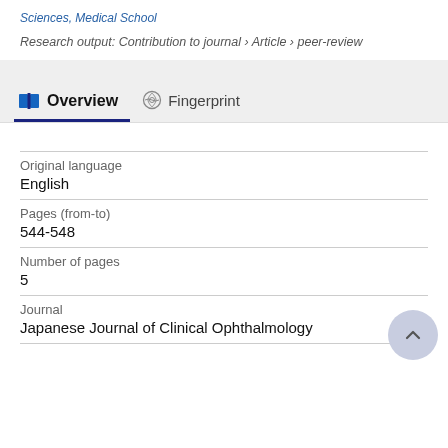Sciences, Medical School
Research output: Contribution to journal › Article › peer-review
Overview
Fingerprint
Original language
English
Pages (from-to)
544-548
Number of pages
5
Journal
Japanese Journal of Clinical Ophthalmology